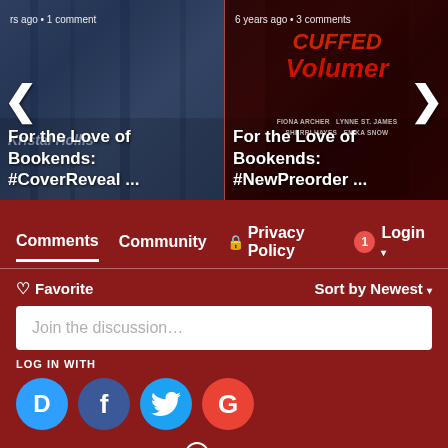[Figure (screenshot): Carousel with two book cover images. Left: 'For the Love of Bookends: #CoverReveal ...' with dark blue background, 'rs ago • 1 comment'. Right: 'For the Love of Bookends: #NewPreorder ...' with dark red background, '6 years ago • 3 comments', authors: FIONA ARCHER, LYNNE ST. JAMES, SHERRI HAYES, ENIKA SNOW]
Comments  Community  🔒 Privacy Policy  1  Login
♡ Favorite   Sort by Newest ▾
Join the discussion…
LOG IN WITH
[Figure (logo): Social login icons: Disqus (blue D), Facebook (dark blue f), Twitter (light blue bird), Google (red G)]
OR SIGN UP WITH DISQUS ?
N...